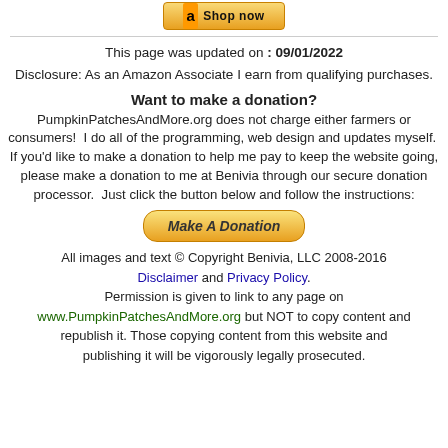[Figure (other): Amazon 'Shop now' button partially visible at top]
This page was updated on : 09/01/2022
Disclosure: As an Amazon Associate I earn from qualifying purchases.
Want to make a donation?
PumpkinPatchesAndMore.org does not charge either farmers or consumers!  I do all of the programming, web design and updates myself.  If you'd like to make a donation to help me pay to keep the website going, please make a donation to me at Benivia through our secure donation processor.  Just click the button below and follow the instructions:
[Figure (other): Make A Donation button (gold/yellow rounded button)]
All images and text © Copyright Benivia, LLC 2008-2016 Disclaimer and Privacy Policy. Permission is given to link to any page on www.PumpkinPatchesAndMore.org but NOT to copy content and republish it. Those copying content from this website and publishing it will be vigorously legally prosecuted.